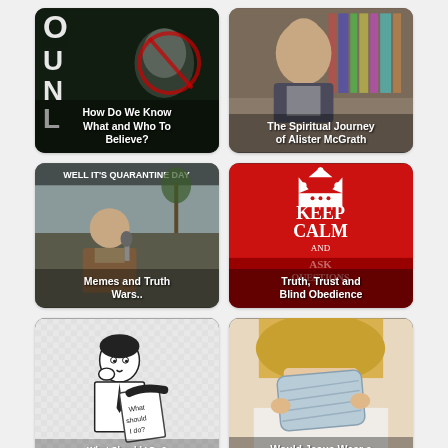[Figure (illustration): Dark image with Ghostbusters logo and letters O,U,N,L visible, with text overlay 'How Do We Know What and Who To Believe?']
[Figure (photo): Photo of man (Alister McGrath) in front of bookshelves, with text overlay 'The Spiritual Journey of Alister McGrath']
[Figure (photo): Meme image with text 'WELL IT'S QUARANTINE DAY' showing a man being interviewed, overlay text 'Memes and Truth Wars..']
[Figure (illustration): Red 'Keep Calm and Ask Questions' poster style image, overlay text 'Truth, Trust and Blind Obedience']
[Figure (illustration): Black and white illustration of retro man reading paper with 'What should I do?' text, partially visible caption below]
[Figure (photo): Photo of person holding a face mask, with partial text 'Would Jesus Wear a Face Mask?' visible]